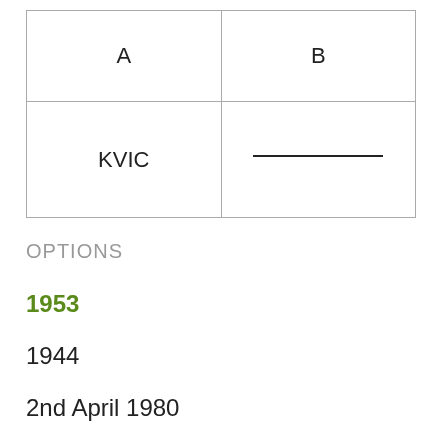| A | B |
| --- | --- |
| KVIC | ___________ |
OPTIONS
1953
1944
2nd April 1980
Oct. 1983
12 July 1982